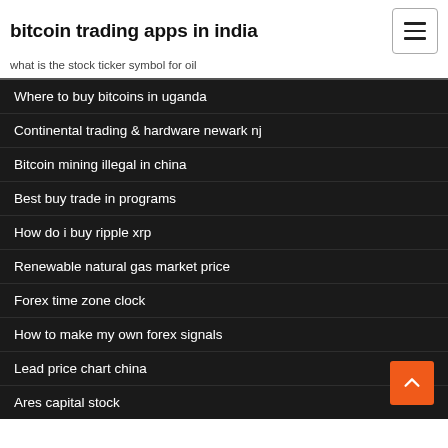bitcoin trading apps in india
what is the stock ticker symbol for oil
Where to buy bitcoins in uganda
Continental trading & hardware newark nj
Bitcoin mining illegal in china
Best buy trade in programs
How do i buy ripple xrp
Renewable natural gas market price
Forex time zone clock
How to make my own forex signals
Lead price chart china
Ares capital stock